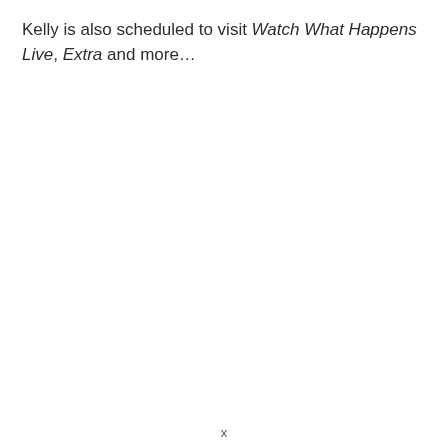Kelly is also scheduled to visit Watch What Happens Live, Extra and more…
x